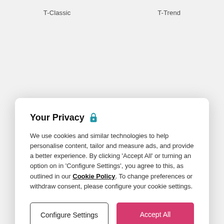T-Classic
T-Trend
Your Privacy 🔒
We use cookies and similar technologies to help personalise content, tailor and measure ads, and provide a better experience. By clicking 'Accept All' or turning an option on in 'Configure Settings', you agree to this, as outlined in our Cookie Policy. To change preferences or withdraw consent, please configure your cookie settings.
Configure Settings
Accept All